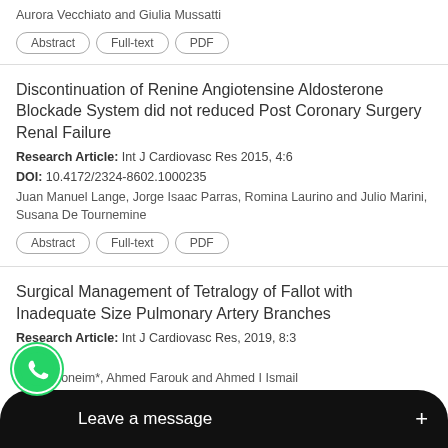Aurora Vecchiato and Giulia Mussatti
Abstract | Full-text | PDF
Discontinuation of Renine Angiotensine Aldosterone Blockade System did not reduced Post Coronary Surgery Renal Failure
Research Article: Int J Cardiovasc Res 2015, 4:6
DOI: 10.4172/2324-8602.1000235
Juan Manuel Lange, Jorge Isaac Parras, Romina Laurino and Julio Marini, Susana De Tournemine
Abstract | Full-text | PDF
Surgical Management of Tetralogy of Fallot with Inadequate Size Pulmonary Artery Branches
Research Article: Int J Cardiovasc Res, 2019, 8:3
DOI:
1MF Ghoneim*, Ahmed Farouk and Ahmed I Ismail
[Figure (other): WhatsApp chat widget overlay with green phone icon and dark message bubble reading 'Leave a message +']